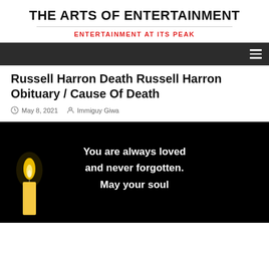THE ARTS OF ENTERTAINMENT
ENTERTAINMENT AT ITS PEAK
Russell Harron Death Russell Harron Obituary / Cause Of Death
May 8, 2021   Immiguy Giwa
[Figure (photo): Black background with a lit candle on the left and white text reading: You are always loved and never forgotten. May your soul]